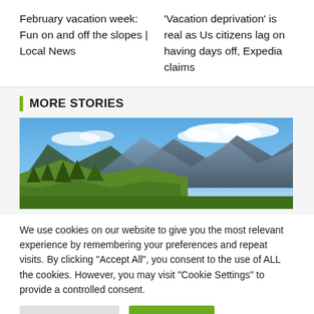February vacation week: Fun on and off the slopes | Local News
'Vacation deprivation' is real as Us citizens lag on having days off, Expedia claims
MORE STORIES
[Figure (photo): Mountain landscape with blue sky, white clouds, green forested slopes and rocky peaks]
We use cookies on our website to give you the most relevant experience by remembering your preferences and repeat visits. By clicking "Accept All", you consent to the use of ALL the cookies. However, you may visit "Cookie Settings" to provide a controlled consent.
Cookie Settings
Accept All